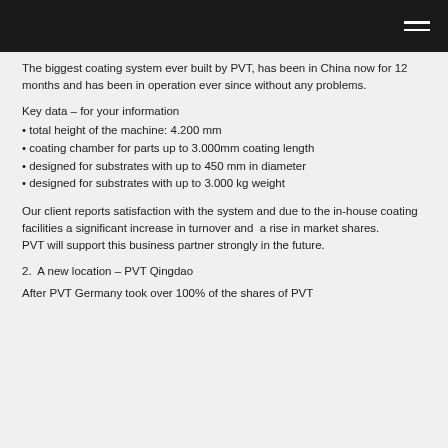The biggest coating system ever built by PVT, has been in China now for 12 months and has been in operation ever since without any problems.
Key data – for your information
• total height of the machine: 4.200 mm
• coating chamber for parts up to 3.000mm coating length
• designed for substrates with up to 450 mm in diameter
• designed for substrates with up to 3.000 kg weight
Our client reports satisfaction with the system and due to the in-house coating facilities a significant increase in turnover and  a rise in market shares.
PVT will support this business partner strongly in the future.
2.  A new location – PVT Qingdao
After PVT Germany took over 100% of the shares of PVT